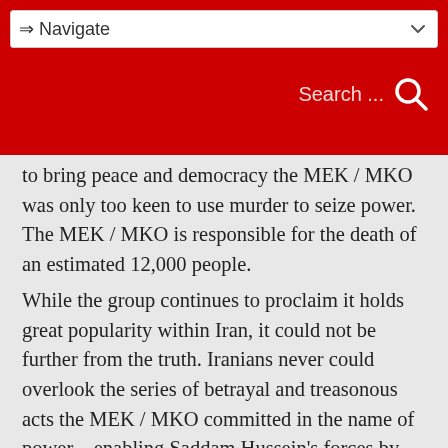⇒ Navigate | Search ...
to bring peace and democracy the MEK / MKO was only too keen to use murder to seize power. The MEK / MKO is responsible for the death of an estimated 12,000 people.
While the group continues to proclaim it holds great popularity within Iran, it could not be further from the truth. Iranians never could overlook the series of betrayal and treasonous acts the MEK / MKO committed in the name of power – enabling Saddam Hussein's forces by siding with him against Iran remains to this day a source of much popular anger among Iranians.
One action in particular destroyed whatever goodwill Iranians may have still harboured